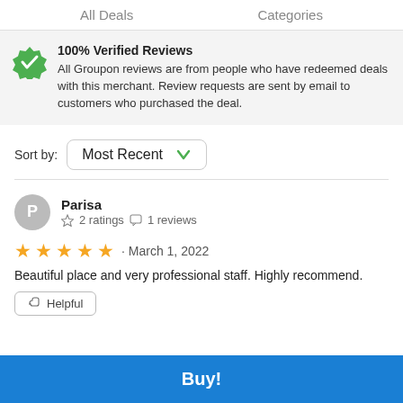All Deals   Categories
100% Verified Reviews
All Groupon reviews are from people who have redeemed deals with this merchant. Review requests are sent by email to customers who purchased the deal.
Sort by: Most Recent
Parisa · 2 ratings · 1 reviews
★★★★★ · March 1, 2022
Beautiful place and very professional staff. Highly recommend.
Helpful
Buy!